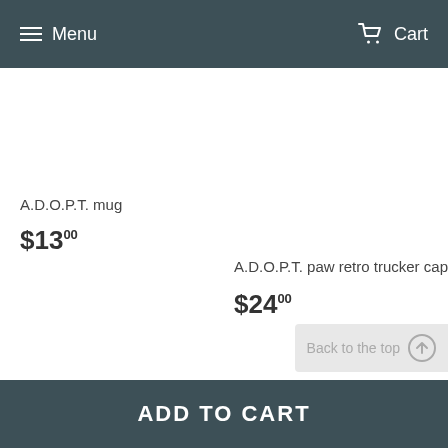Menu   Cart
A.D.O.P.T. mug
$13.00
A.D.O.P.T. paw retro trucker cap
$24.00
Back to the top
ADD TO CART